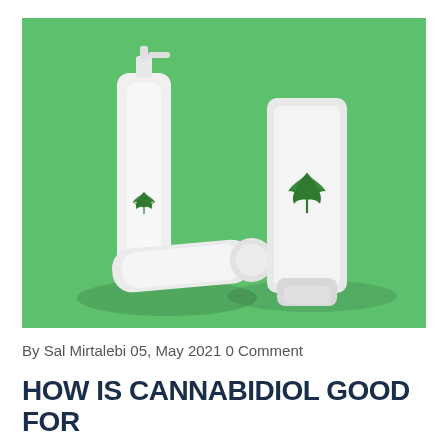[Figure (photo): Three white cosmetic/lotion containers with green cannabis leaf logos on a green background. Two pump/spray bottles and one tube-style container.]
By Sal Mirtalebi 05, May 2021 0 Comment
HOW IS CANNABIDIOL GOOD FOR